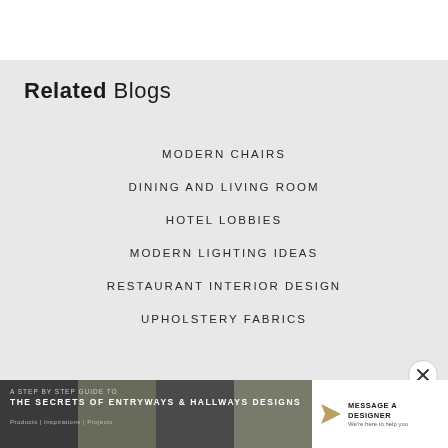Related Blogs
MODERN CHAIRS
DINING AND LIVING ROOM
HOTEL LOBBIES
MODERN LIGHTING IDEAS
RESTAURANT INTERIOR DESIGN
UPHOLSTERY FABRICS
A STEP BY STEP GUIDE TO THE SECRETS OF ENTRYWAYS & HALLWAYS DESIGNS | Products | Inspirations | Projects | MESSAGE A DESIGNER We're here to help you